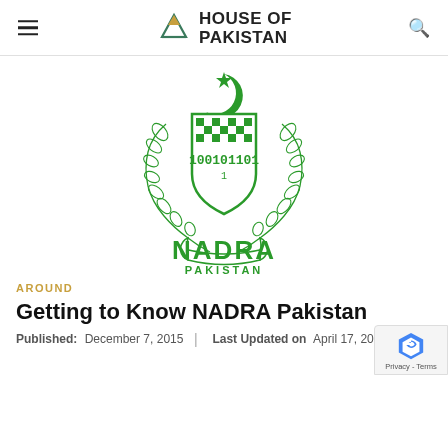HOUSE OF PAKISTAN
[Figure (logo): NADRA Pakistan official logo in green — crescent and star at top, coat of arms with wreath and shield containing binary digits 100101101, scroll at bottom, text NADRA PAKISTAN below]
AROUND
Getting to Know NADRA Pakistan
Published: December 7, 2015 | Last Updated on April 17, 2022